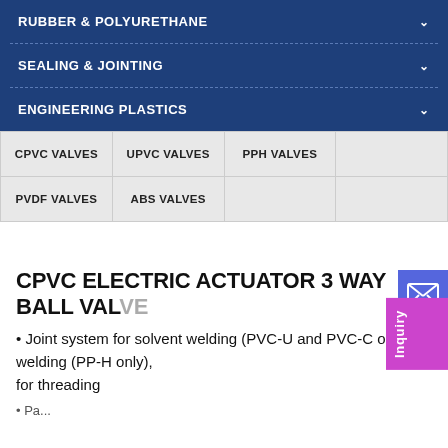RUBBER & POLYURETHANE
SEALING & JOINTING
ENGINEERING PLASTICS
| CPVC VALVES | UPVC VALVES | PPH VALVES |  |
| PVDF VALVES | ABS VALVES |  |  |
CPVC ELECTRIC ACTUATOR 3 WAY BALL VALVE
• Joint system for solvent welding (PVC-U and PVC-C only), welding (PP-H only), for threading